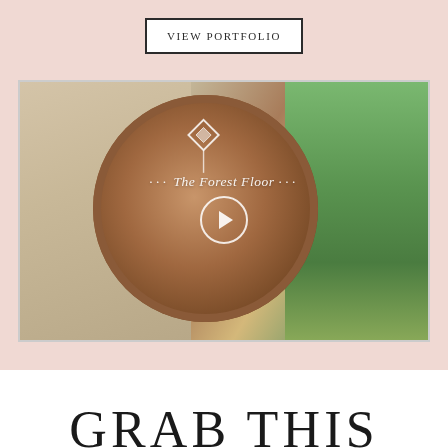VIEW PORTFOLIO
[Figure (photo): Video thumbnail showing a person holding a large shamanic frame drum outdoors in a forest setting. A play button circle is overlaid in the center. Text overlay reads '… The Forest Floor …']
GRAB THIS